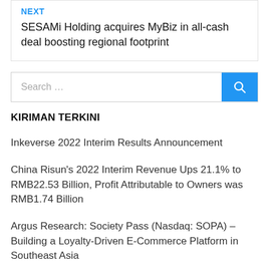NEXT
SESAMi Holding acquires MyBiz in all-cash deal boosting regional footprint
[Figure (other): Search bar with blue search button containing a magnifying glass icon]
KIRIMAN TERKINI
Inkeverse 2022 Interim Results Announcement
China Risun's 2022 Interim Revenue Ups 21.1% to RMB22.53 Billion, Profit Attributable to Owners was RMB1.74 Billion
Argus Research: Society Pass (Nasdaq: SOPA) – Building a Loyalty-Driven E-Commerce Platform in Southeast Asia